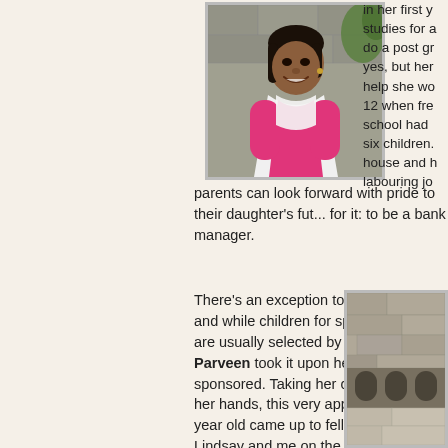[Figure (photo): Portrait photo of a smiling young woman in pink and white traditional attire, standing against a stone wall with greenery]
in her first y... studies for a... do a post gr... yes, but her... help she wo... 12 when fre... school had ... six children.... house and h... labouring jo...
parents can look forward with pride to their daughter's future and she is working hard for it: to be a bank manager.
There's an exception to every rule and while children for sponsorship are usually selected by trustee Ali, Parveen took it upon herself to get sponsored. Taking her courage in her hands, this very appealing 12 year old came up to fellow trustee Lindsay and me on the beach to plead her case. And won! She met all the criteria and now this clever girl is in her second year of a nursing diploma which will be followed by a degree course. Her single parent mother who has two other children said that Parveen, like...
[Figure (photo): Photo of a stone/concrete wall structure, partial view]